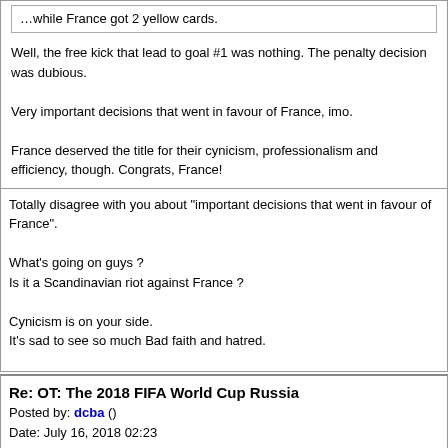Well, the free kick that lead to goal #1 was nothing. The penalty decision was dubious.

Very important decisions that went in favour of France, imo.

France deserved the title for their cynicism, professionalism and efficiency, though. Congrats, France!
Totally disagree with you about "important decisions that went in favour of France".

What's going on guys ?
Is it a Scandinavian riot against France ?

Cynicism is on your side.
It's sad to see so much Bad faith and hatred.
Re: OT: The 2018 FIFA World Cup Russia
Posted by: dcba ()
Date: July 16, 2018 02:23
Quote
5strings
No discuss
France was and is the best team of this world Cup
They were among the top 5 teams but they were extremely lucky. Fate was on their side from Day 1.
Maybe Deschamps hired the right African sorcerers?